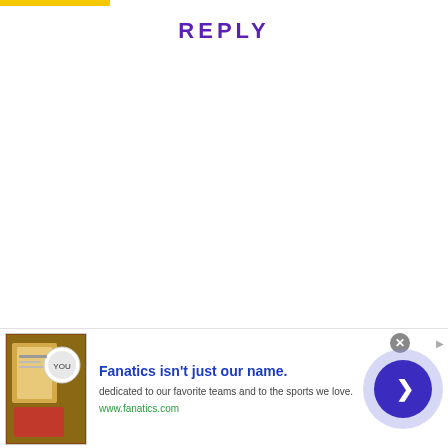REPLY
[Figure (infographic): Advertisement banner for Fanatics. Contains an image of sports merchandise/books, headline text 'Fanatics isn't just our name.', body text 'dedicated to our favorite teams and to the sports we love.', URL 'www.fanatics.com', a close button (X), and a forward arrow button.]